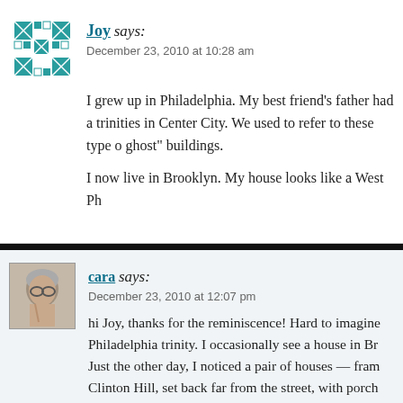[Figure (illustration): Teal/green decorative quilt-pattern avatar icon for user Joy]
Joy says:
December 23, 2010 at 10:28 am
I grew up in Philadelphia. My best friend’s father had a trinities in Center City. We used to refer to these type of ghost” buildings.
I now live in Brooklyn. My house looks like a West Ph
[Figure (photo): Small profile photo of a woman with gray hair wearing glasses, touching her face]
cara says:
December 23, 2010 at 12:07 pm
hi Joy, thanks for the reminiscence! Hard to imagine Philadelphia trinity. I occasionally see a house in Br Just the other day, I noticed a pair of houses — fram Clinton Hill, set back far from the street, with porch thought “Philadelphia!”